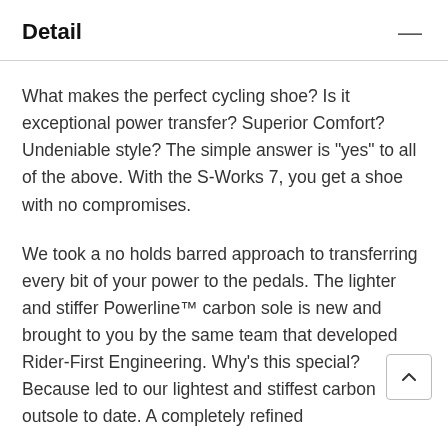Detail
What makes the perfect cycling shoe? Is it exceptional power transfer? Superior Comfort? Undeniable style? The simple answer is "yes" to all of the above. With the S-Works 7, you get a shoe with no compromises.
We took a no holds barred approach to transferring every bit of your power to the pedals. The lighter and stiffer Powerline™ carbon sole is new and brought to you by the same team that developed Rider-First Engineering. Why's this special? Because led to our lightest and stiffest carbon outsole to date. A completely refined